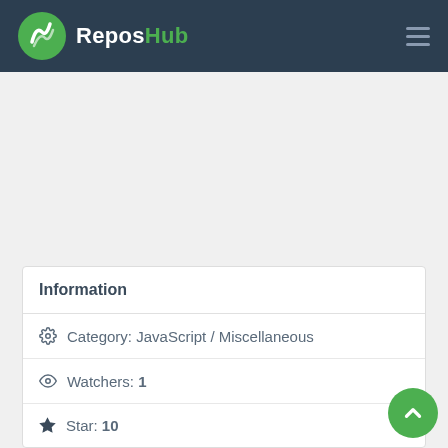ReposHub
Information
Category: JavaScript / Miscellaneous
Watchers: 1
Star: 10